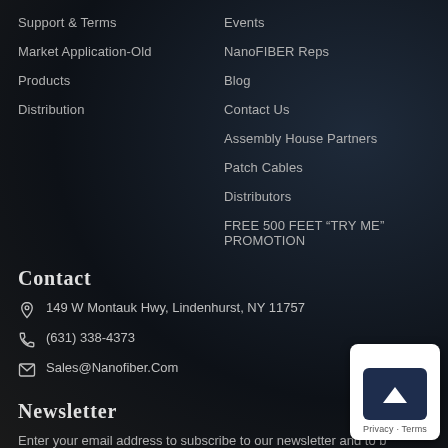Support & Terms
Events
Market Application-Old
NanoFIBER Reps
Products
Blog
Distribution
Contact Us
Assembly House Partners
Patch Cables
Distributors
FREE 500 FEET “TRY ME” PROMOTION
Contact
149 W Montauk Hwy, Lindenhurst, NY 11757
(631) 338-4373
Sales@Nanofiber.Com
Newsletter
Enter your email address to subscribe to our newsletter and to be notified of our official launch.